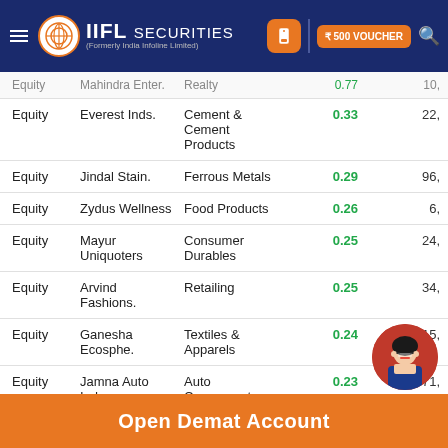IIFL Securities (Formerly India Infoline Limited) - ₹500 VOUCHER
| Type | Name | Sector | Value |  |
| --- | --- | --- | --- | --- |
| Equity | Mahindra Enter. | Realty | 0.77 | 10, |
| Equity | Everest Inds. | Cement & Cement Products | 0.33 | 22, |
| Equity | Jindal Stain. | Ferrous Metals | 0.29 | 96, |
| Equity | Zydus Wellness | Food Products | 0.26 | 6, |
| Equity | Mayur Uniquoters | Consumer Durables | 0.25 | 24, |
| Equity | Arvind Fashions. | Retailing | 0.25 | 34, |
| Equity | Ganesha Ecosphe. | Textiles & Apparels | 0.24 | 15, |
| Equity | Jamna Auto Inds. | Auto Components | 0.23 | 71, |
| Equity | Sumitomo Chemi. | Fertilizers & Agrochemicals | 0.09 | 8, |
Open Demat Account